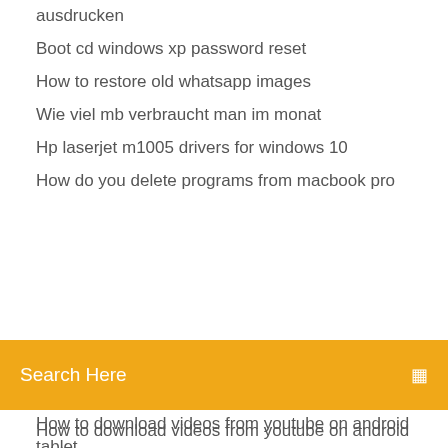ausdrucken
Boot cd windows xp password reset
How to restore old whatsapp images
Wie viel mb verbraucht man im monat
Hp laserjet m1005 drivers for windows 10
How do you delete programs from macbook pro
[Figure (screenshot): Yellow/orange search bar with text 'Search Here' and a small icon on the right]
How to download videos from youtube on android tablet
Free download excel for macbook pro
Kostenloser youtube downloader & konverter wav mp4 mp3 avi 3gp mov
Buy Minecraft for Windows 10 - Microsoft Store en-GB
[Figure (infographic): Social media icons: Facebook, Twitter, Dribbble, Behance]